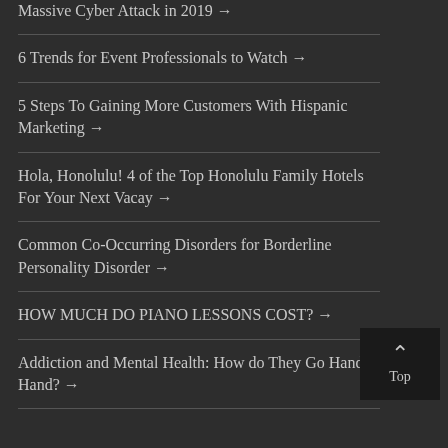Massive Cyber Attack in 2019 →
6 Trends for Event Professionals to Watch →
5 Steps To Gaining More Customers With Hispanic Marketing →
Hola, Honolulu! 4 of the Top Honolulu Family Hotels For Your Next Vacay →
Common Co-Occurring Disorders for Borderline Personality Disorder →
HOW MUCH DO PIANO LESSONS COST? →
Addiction and Mental Health: How do They Go Hand in Hand? →